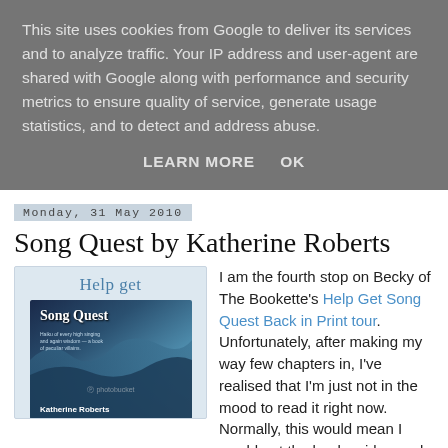This site uses cookies from Google to deliver its services and to analyze traffic. Your IP address and user-agent are shared with Google along with performance and security metrics to ensure quality of service, generate usage statistics, and to detect and address abuse.
LEARN MORE   OK
Monday, 31 May 2010
Song Quest by Katherine Roberts
[Figure (illustration): Book cover of Song Quest by Katherine Roberts, showing a figure with flowing dark hair against a blue background, with 'Help get' text above and photobucket watermark]
I am the fourth stop on Becky of The Bookette's Help Get Song Quest Back in Print tour. Unfortunately, after making my way few chapters in, I've realised that I'm just not in the mood to read it right now. Normally, this would mean I would put the book aside, read some other books, and come